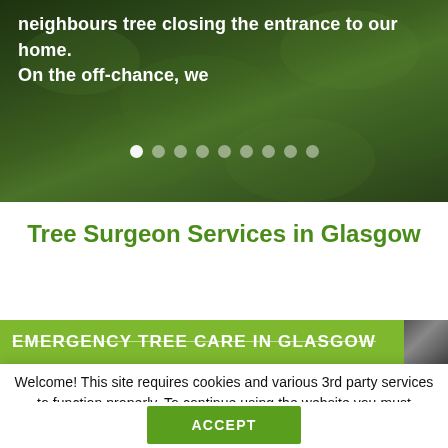[Figure (photo): Dark green foliage background with a hero image of trees/leaves. Text overlay reads: 'neighbours tree closing the entrance to our home. On the off-chance, we'. Pagination dots visible at bottom of image area.]
Tree Surgeon Services in Glasgow
[Figure (screenshot): Green olive banner with text 'EMERGENCY TREE CARE IN GLASGOW' in white uppercase letters with strikethrough styling, and a small dark image thumbnail in the top-right corner.]
Welcome! This site requires cookies and various 3rd party services to function properly. To continue using the website you must consent to our Privacy & Cookie Policy. Please accept to agree
Cookie Settings
ACCEPT